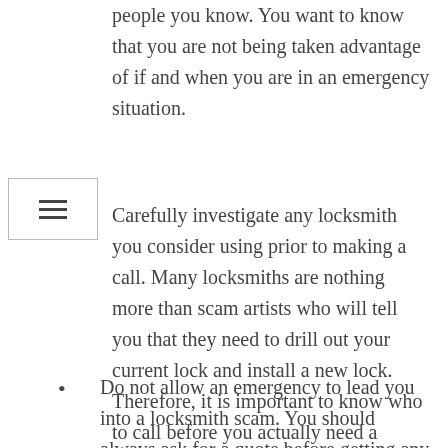people you know. You want to know that you are not being taken advantage of if and when you are in an emergency situation.
Carefully investigate any locksmith you consider using prior to making a call. Many locksmiths are nothing more than scam artists who will tell you that they need to drill out your current lock and install a new lock. Therefore, it is important to know who to call before you actually need a locksmith.
Do not allow an emergency to lead you into a locksmith scam. You should always ask for a quote before getting any service done. It is likely you will be charged more once someone arrives and assesses the situation, but it should not be ridiculously higher than the estimate you were given.